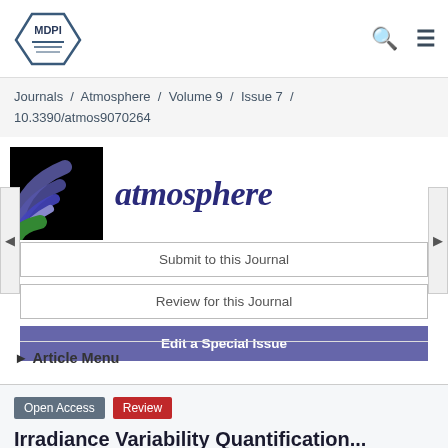[Figure (logo): MDPI logo - hexagonal shape with MDPI text]
Journals / Atmosphere / Volume 9 / Issue 7 / 10.3390/atmos9070264
[Figure (logo): Atmosphere journal logo - concentric arcs in blue and green on black background]
atmosphere
Submit to this Journal
Review for this Journal
Edit a Special Issue
► Article Menu
Open Access
Review
Irradiance Variability Quantification...